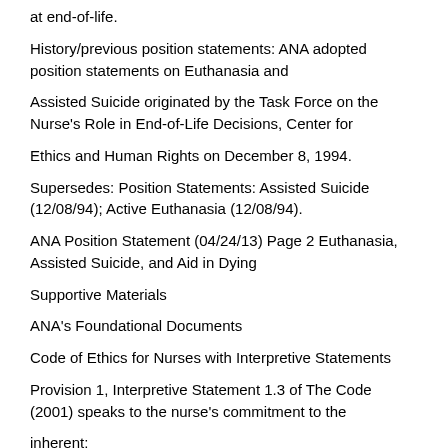at end-of-life.
History/previous position statements: ANA adopted position statements on Euthanasia and
Assisted Suicide originated by the Task Force on the Nurse's Role in End-of-Life Decisions, Center for
Ethics and Human Rights on December 8, 1994.
Supersedes: Position Statements: Assisted Suicide (12/08/94); Active Euthanasia (12/08/94).
ANA Position Statement (04/24/13) Page 2 Euthanasia, Assisted Suicide, and Aid in Dying
Supportive Materials
ANA's Foundational Documents
Code of Ethics for Nurses with Interpretive Statements
Provision 1, Interpretive Statement 1.3 of The Code (2001) speaks to the nurse's commitment to the
inherent: